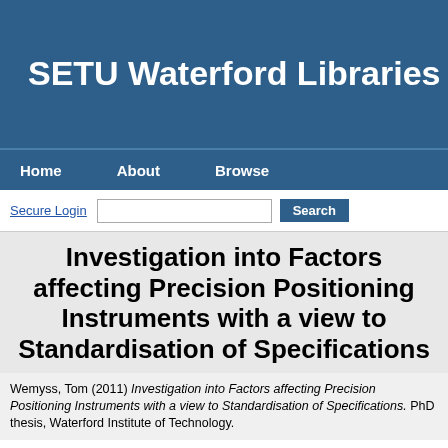SETU Waterford Libraries
Home   About   Browse
Secure Login [search box] Search
Investigation into Factors affecting Precision Positioning Instruments with a view to Standardisation of Specifications
Wemyss, Tom (2011) Investigation into Factors affecting Precision Positioning Instruments with a view to Standardisation of Specifications. PhD thesis, Waterford Institute of Technology.